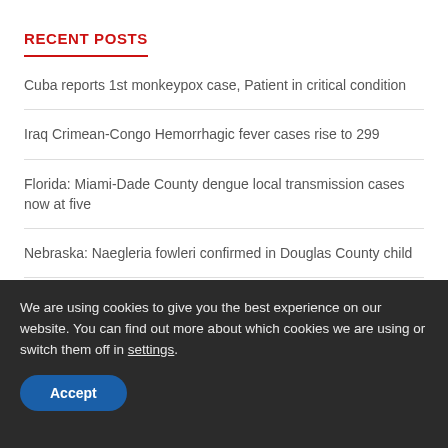RECENT POSTS
Cuba reports 1st monkeypox case, Patient in critical condition
Iraq Crimean-Congo Hemorrhagic fever cases rise to 299
Florida: Miami-Dade County dengue local transmission cases now at five
Nebraska: Naegleria fowleri confirmed in Douglas County child
Ebola: Suspected case investigated in North Kivu, Democratic Republic of the Congo
We are using cookies to give you the best experience on our website. You can find out more about which cookies we are using or switch them off in settings.